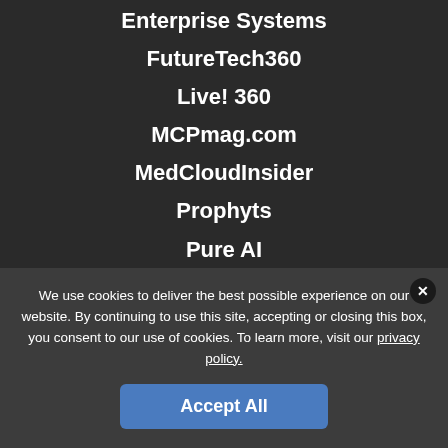Enterprise Systems
FutureTech360
Live! 360
MCPmag.com
MedCloudInsider
Prophyts
Pure AI
Redmond
TechMentor Events
Virtualization & Cloud Review
Visual Studio Magazine
POPULAR
We use cookies to deliver the best possible experience on our website. By continuing to use this site, accepting or closing this box, you consent to our use of cookies. To learn more, visit our privacy policy.
Accept All